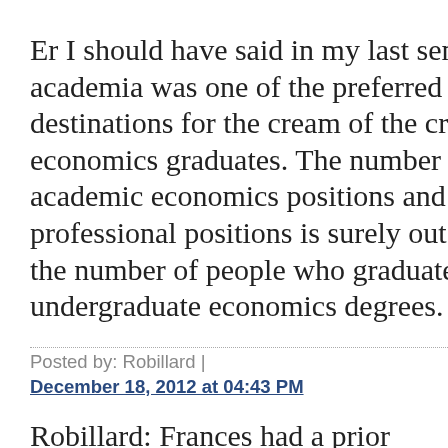Er I should have said in my last sentence that academia was one of the preferred destinations for the cream of the crop of economics graduates. The number of academic economics positions and professional positions is surely outstripped by the number of people who graduate with undergraduate economics degrees.
Posted by: Robillard | December 18, 2012 at 04:43 PM
Robillard: Frances had a prior